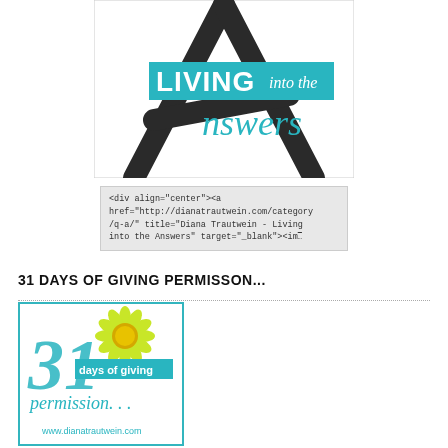[Figure (logo): Living into the Answers logo — large dark letter A with teal banner reading LIVING into the Answers in script and sans-serif type]
<div align="center"><a href="http://dianatrautwein.com/category/q-a/" title="Diana Trautwein - Living into the Answers" target="_blank"><im…
31 DAYS OF GIVING PERMISSON...
[Figure (logo): 31 Days of Giving Permission badge — teal cursive 31, yellow daisy, teal banner reading days of giving, teal cursive permission..., and www.dianatrautwein.com at bottom]